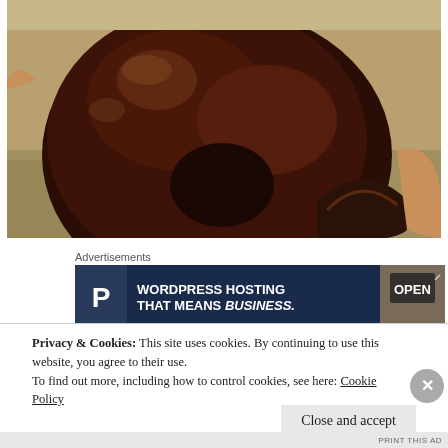[Figure (photo): A chocolate-glazed donut viewed from above, held on a Dunkin Donuts branded paper bag. The donut is covered in shiny dark chocolate glaze with a bite taken out of it revealing the dark cake interior.]
Advertisements
[Figure (screenshot): Advertisement banner for WordPress hosting: dark navy background with a P logo box on left, text 'WORDPRESS HOSTING THAT MEANS BUSINESS.' in white bold, and an OPEN sign image on the right.]
Privacy & Cookies: This site uses cookies. By continuing to use this website, you agree to their use.
To find out more, including how to control cookies, see here: Cookie Policy
Close and accept